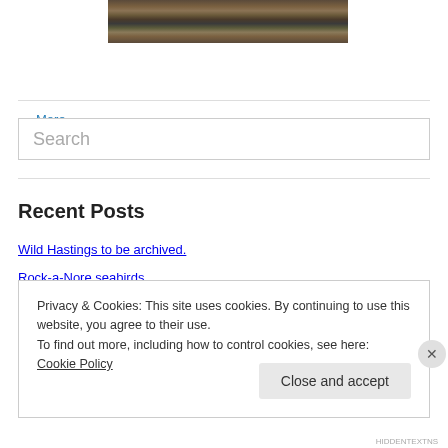[Figure (photo): Partial photo of leaves and twigs on ground, only bottom portion visible]
More Photos
Search
Recent Posts
Wild Hastings to be archived.
Rock-a-Nore seabirds
Privacy & Cookies: This site uses cookies. By continuing to use this website, you agree to their use.
To find out more, including how to control cookies, see here: Cookie Policy
Close and accept